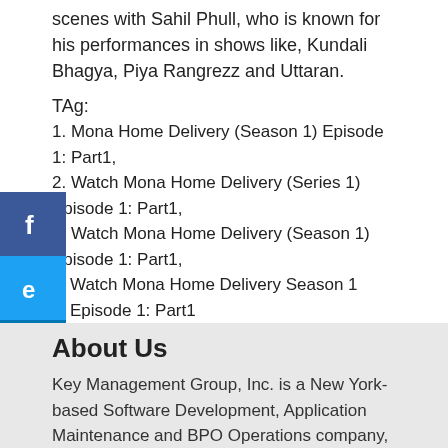scenes with Sahil Phull, who is known for his performances in shows like, Kundali Bhagya, Piya Rangrezz and Uttaran.
TAg:
1. Mona Home Delivery (Season 1) Episode 1: Part1,
2. Watch Mona Home Delivery (Series 1) Episode 1: Part1,
3. Watch Mona Home Delivery (Season 1) Episode 1: Part1,
Watch Mona Home Delivery Season 1 Episode 1: Part1
[Figure (illustration): Facebook social share icon (blue square with white f)]
[Figure (illustration): Twitter social share icon (blue square with white bird/t)]
[Figure (illustration): LinkedIn social share icon (blue square with white in)]
[Figure (illustration): Phone/call social icon (orange square with white phone icon)]
[Figure (illustration): Email social icon (yellow-orange square with white envelope)]
About Us
Key Management Group, Inc. is a New York-based Software Development, Application Maintenance and BPO Operations company, providing IT solutions for the Healthcare and Property & Casualty Insurance sectors globally.